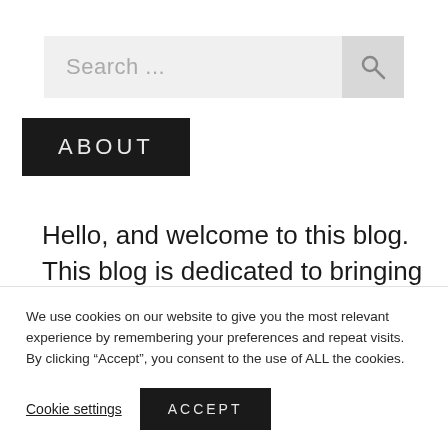[Figure (screenshot): Search bar with placeholder text 'Search ...' and a magnifying glass icon on the right, on a light grey background]
ABOUT
Hello, and welcome to this blog. This blog is dedicated to bringing you all the latest information on different topics like Business,
We use cookies on our website to give you the most relevant experience by remembering your preferences and repeat visits. By clicking “Accept”, you consent to the use of ALL the cookies.
Cookie settings
ACCEPT